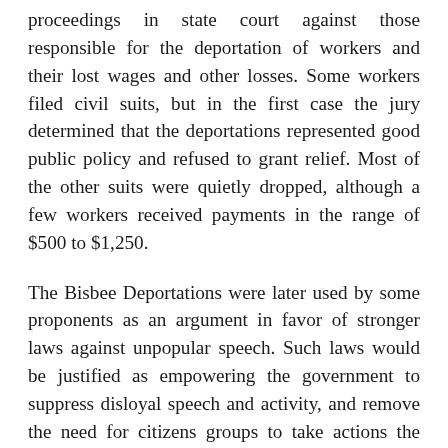proceedings in state court against those responsible for the deportation of workers and their lost wages and other losses. Some workers filed civil suits, but in the first case the jury determined that the deportations represented good public policy and refused to grant relief. Most of the other suits were quietly dropped, although a few workers received payments in the range of $500 to $1,250.
The Bisbee Deportations were later used by some proponents as an argument in favor of stronger laws against unpopular speech. Such laws would be justified as empowering the government to suppress disloyal speech and activity, and remove the need for citizens groups to take actions the government could not. During World War I, the federal government used the Sedition Act of 1918 to prosecute people for